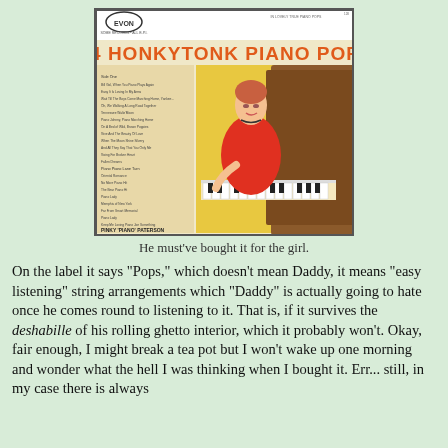[Figure (photo): Album cover for '24 Honkytonk Piano Pops' on the Evon label, featuring a woman in a red dress playing piano, with a tracklist on the left side and the credit 'Pinky Piano Paterson' at the bottom.]
He must've bought it for the girl.
On the label it says "Pops," which doesn't mean Daddy, it means "easy listening" string arrangements which "Daddy" is actually going to hate once he comes round to listening to it. That is, if it survives the deshabille of his rolling ghetto interior, which it probably won't. Okay, fair enough, I might break a tea pot but I won't wake up one morning and wonder what the hell I was thinking when I bought it. Err... still, in my case there is always